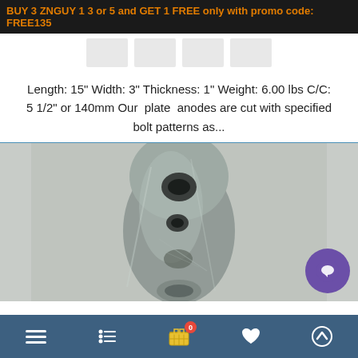BUY 3 ZNGUY 1 3 or 5 and GET 1 FREE only with promo code: FREE135
[Figure (photo): Four product thumbnail placeholder boxes in a horizontal row]
Length: 15" Width: 3" Thickness: 1" Weight: 6.00 lbs C/C: 5 1/2" or 140mm Our plate anodes are cut with specified bolt patterns as...
[Figure (photo): Close-up photo of a zinc plate anode with bolt holes, metallic grey surface on a light background. A purple chat bubble icon is overlaid in the bottom-right corner.]
Navigation bar with menu, filter, cart (0), heart, and up-arrow icons